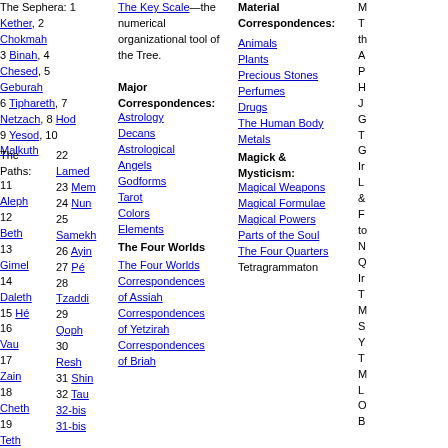The Sephera: 1 Kether, 2 Chokmah 3 Binah, 4 Chesed, 5 Geburah 6 Tiphareth, 7 Netzach, 8 Hod 9 Yesod, 10 Malkuth
The Paths: 11 Aleph 12 Beth 13 Gimel 14 Daleth 15 Hé 16 Vau 17 Zain 18 Cheth 19 Teth 20 Yod 21 Kaph
22 Lamed 23 Mem 24 Nun 25 Samekh 26 Ayin 27 Pé 28 Tzaddi 29 Qoph 30 Resh 31 Shin 32 Tau 32-bis 31-bis
The Key Scale—the numerical organizational tool of the Tree. Major Correspondences: Astrology Decans Astrological Angels Godforms Tarot Colors Elements The Four Worlds The Four Worlds Correspondences of Assiah Correspondences of Yetzirah Correspondences of Briah
Material Correspondences: Animals Plants Precious Stones Perfumes Drugs The Human Body Metals Magick & Mysticism: Magical Weapons Magical Formulae Magical Powers Parts of the Soul The Four Quarters Tetragrammaton